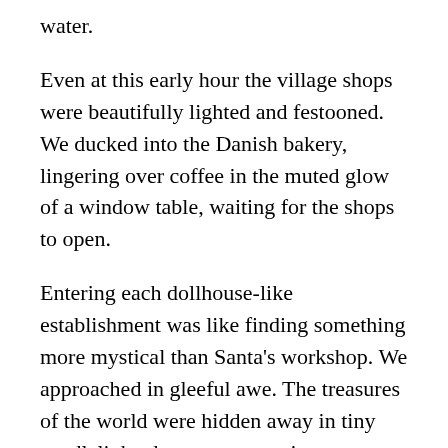water.
Even at this early hour the village shops were beautifully lighted and festooned. We ducked into the Danish bakery, lingering over coffee in the muted glow of a window table, waiting for the shops to open.
Entering each dollhouse-like establishment was like finding something more mystical than Santa's workshop. We approached in gleeful awe. The treasures of the world were hidden away in tiny candlelighted cottages on a tiny avenue on a tiny island in the eye of a Pacific storm.
On our way home in the dusk of late afternoon, a bay full of boats sailed by the ferry, each decorated for the annual Christmas Light Parade. Towering majestic sailing vessels outlined in glowing color swept past in silence. Intentionally clownish boats of all types, wildly